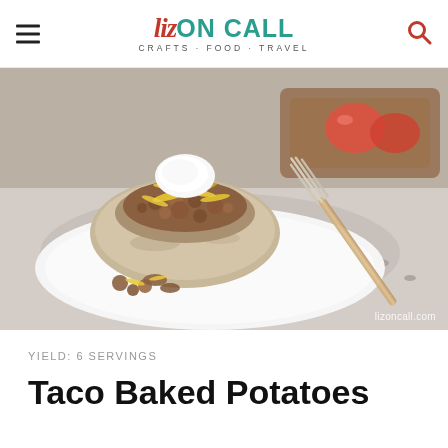Liz ON CALL · CRAFTS · FOOD · TRAVEL
[Figure (photo): A baked potato topped with seasoned ground meat, shredded cheese, and a dollop of sour cream, served on a white plate with a fork on a granite countertop. Sliced tomatoes on a wooden cutting board visible in the background. Watermark: lizoncall.com]
YIELD: 6 SERVINGS
Taco Baked Potatoes